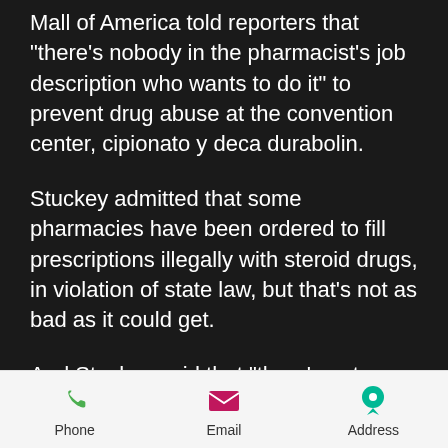Mall of America told reporters that "there's nobody in the pharmacist's job description who wants to do it" to prevent drug abuse at the convention center, cipionato y deca durabolin.
Stuckey admitted that some pharmacies have been ordered to fill prescriptions illegally with steroid drugs, in violation of state law, but that's not as bad as it could get.
And Stuckey said that "there's not an issue with (the Mall of America's) policy for steroids because we're so busy."
The Tampa Bay Times reports that even though the pharmacies won't be asked to fill prescriptions...
Phone  Email  Address